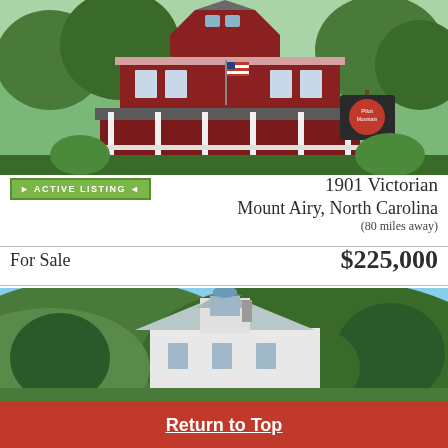[Figure (photo): Photo of a red 1901 Victorian house with wrap-around porch and American flag, surrounded by trees.]
ACTIVE LISTING
1901 Victorian
Mount Airy, North Carolina
(80 miles away)
For Sale
$225,000
[Figure (photo): Photo of a white Victorian-style house with blue sky and green wooded hillside in the background.]
Return to Top